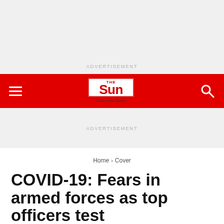ADVERTISEMENT
[Figure (logo): The Sun newspaper logo — red rectangle with 'THE Sun Voice of the Nation' text]
ADVERTISEMENT
Home > Cover
COVID-19: Fears in armed forces as top officers test